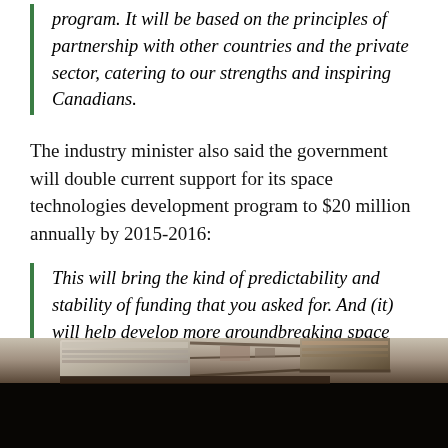program. It will be based on the principles of partnership with other countries and the private sector, catering to our strengths and inspiring Canadians.
The industry minister also said the government will double current support for its space technologies development program to $20 million annually by 2015-2016:
This will bring the kind of predictability and stability of funding that you asked for. And (it) will help develop more groundbreaking space technologies that Canadian space companies are so recognized for.
[Figure (photo): Photograph of a space station component or spacecraft structure, showing metallic panels and hardware against a dark space background]